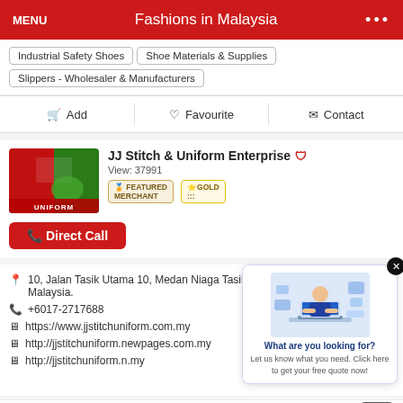Fashions in Malaysia
Industrial Safety Shoes
Shoe Materials & Supplies
Slippers - Wholesaler & Manufacturers
Add | Favourite | Contact
JJ Stitch & Uniform Enterprise
View: 37991
Featured Merchant
Direct Call
10, Jalan Tasik Utama 10, Medan Niaga Tasik Damai, 5700 Lumpur, Malaysia.
+6017-2717688
https://www.jjstitchuniform.com.my
http://jjstitchuniform.newpages.com.my
http://jjstitchuniform.n.my
[Figure (infographic): Popup widget asking 'What are you looking for?' with illustration of a person at computer, subtext: Let us know what you need. Click here to get your free quote now!]
Uniforms
Tee - Shirts Printing
Fashions
Embroidery
Uniforms - Wholesale & Manufactures
Printing Services
Uniforms
Bic...